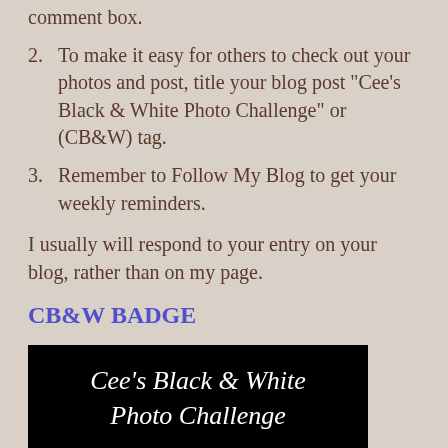comment box.
2. To make it easy for others to check out your photos and post, title your blog post “Cee’s Black & White Photo Challenge” or (CB&W) tag.
3. Remember to Follow My Blog to get your weekly reminders.
I usually will respond to your entry on your blog, rather than on my page.
CB&W BADGE
[Figure (illustration): Black rectangle badge with white italic text reading 'Cee’s Black & White Photo Challenge']